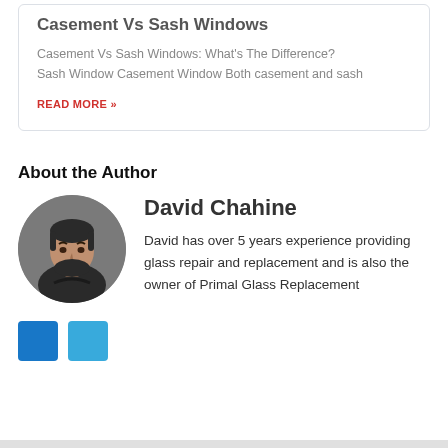Casement Vs Sash Windows
Casement Vs Sash Windows: What's The Difference? Sash Window Casement Window Both casement and sash
READ MORE »
About the Author
[Figure (photo): Circular portrait photo of David Chahine, a man with dark hair and beard wearing a dark shirt]
David Chahine
David has over 5 years experience providing glass repair and replacement and is also the owner of Primal Glass Replacement
[Figure (other): Two social media icon buttons: dark blue Facebook and lighter blue Twitter]